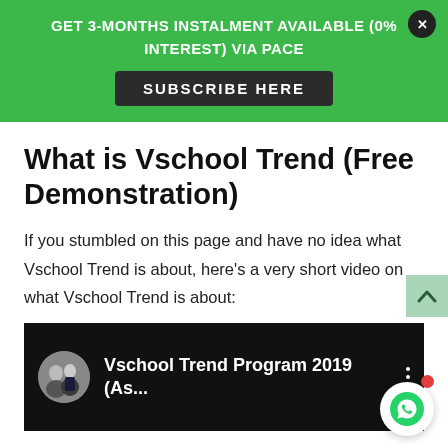GET 3-MONTHS INSTALMENT AVAILABLE (0% INTEREST) VIA PACE
SUBSCRIBE HERE
What is Vschool Trend (Free Demonstration)
If you stumbled on this page and have no idea what Vschool Trend is about, here's a very short video on what Vschool Trend is about:
[Figure (screenshot): YouTube video embed showing 'Vschool Trend Program 2019 (As...' with channel avatar of two people, dark background, three-dot menu icon]